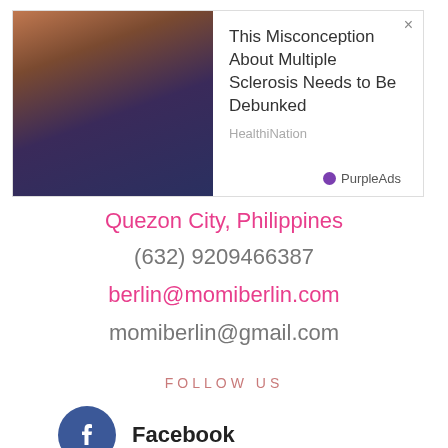[Figure (screenshot): Advertisement banner showing a person in a wheelchair with text 'This Misconception About Multiple Sclerosis Needs to Be Debunked' from HealthiNation, with PurpleAds branding and a close button]
Quezon City, Philippines
(632) 9209466387
berlin@momiberlin.com
momiberlin@gmail.com
FOLLOW US
Facebook
Instagram